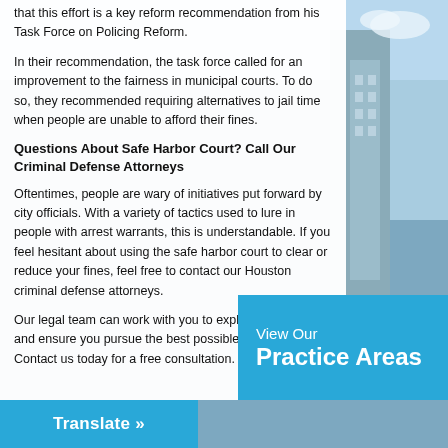that this effort is a key reform recommendation from his Task Force on Policing Reform.
In their recommendation, the task force called for an improvement to the fairness in municipal courts. To do so, they recommended requiring alternatives to jail time when people are unable to afford their fines.
Questions About Safe Harbor Court? Call Our Criminal Defense Attorneys
Oftentimes, people are wary of initiatives put forward by city officials. With a variety of tactics used to lure in people with arrest warrants, this is understandable. If you feel hesitant about using the safe harbor court to clear or reduce your fines, feel free to contact our Houston criminal defense attorneys.
Our legal team can work with you to explore your options and ensure you pursue the best possible outcome. Contact us today for a free consultation.
View Our
Practice Areas
Translate »